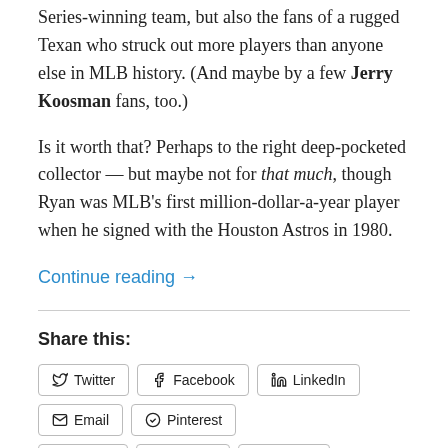Series-winning team, but also the fans of a rugged Texan who struck out more players than anyone else in MLB history. (And maybe by a few Jerry Koosman fans, too.)
Is it worth that? Perhaps to the right deep-pocketed collector — but maybe not for that much, though Ryan was MLB's first million-dollar-a-year player when he signed with the Houston Astros in 1980.
Continue reading →
Share this:
Twitter Facebook LinkedIn Email Pinterest Reddit Tumblr Pocket Print
Like
Be the first to like this.